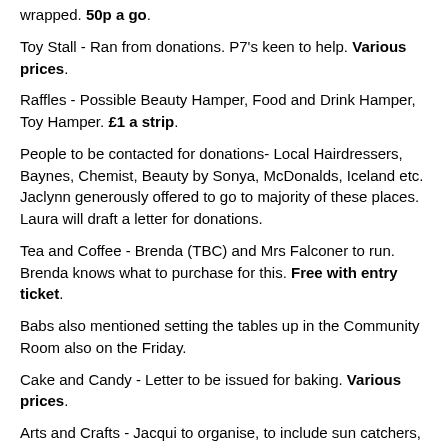wrapped. 50p a go.
Toy Stall - Ran from donations. P7's keen to help. Various prices.
Raffles - Possible Beauty Hamper, Food and Drink Hamper, Toy Hamper. £1 a strip.
People to be contacted for donations- Local Hairdressers, Baynes, Chemist, Beauty by Sonya, McDonalds, Iceland etc. Jaclynn generously offered to go to majority of these places. Laura will draft a letter for donations.
Tea and Coffee - Brenda (TBC) and Mrs Falconer to run. Brenda knows what to purchase for this. Free with entry ticket.
Babs also mentioned setting the tables up in the Community Room also on the Friday.
Cake and Candy - Letter to be issued for baking. Various prices.
Arts and Crafts - Jacqui to organise, to include sun catchers, windchimes. Various prices, Jacqui to make price cards for this stall.